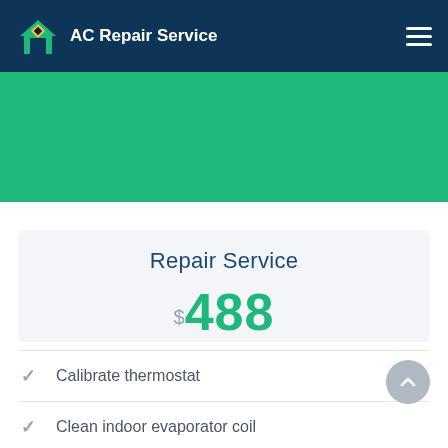AC Repair Service
Repair Service
$488
Calibrate thermostat
Clean indoor evaporator coil